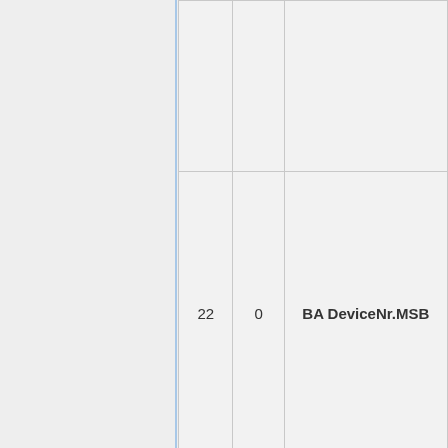|  |  |  |
| 22 | 0 | BA DeviceNr.MSB |
|  |  |  |